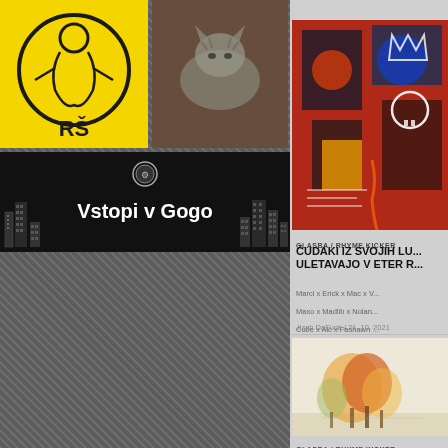[Figure (logo): RŠ logo on yellow background with stylized illustration]
[Figure (photo): Photo of a cat on a dark red surface]
[Figure (other): Vstopi v Gogo banner – black background with white text and city skyline silhouette]
[Figure (illustration): Colorful abstract painting (Basquiat-style) – red, blue, black artwork]
GLASBA / RHYME KICKER
ČUDAKI IZ SVOJIH LU... ULETAVAJO V ETER R...
Marci x Erick x Mac x V... Maxo x Madlib x Nolan... Cube x Alc x Fashawn ...
Jizah DaFunk / 21. 10. 2021
[Figure (illustration): Pencil/watercolor illustration of autumn trees with orange foliage]
GLASBA / RHYME KICKER
SUROVINE IZ PODTA...
Isaiah x ScHollboy x Ro... x Ralphy x Alc x Šif...